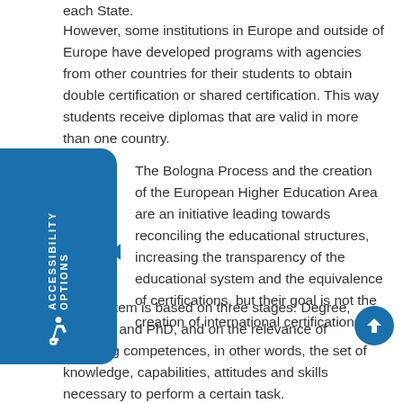each State.
However, some institutions in Europe and outside of Europe have developed programs with agencies from other countries for their students to obtain double certification or shared certification. This way students receive diplomas that are valid in more than one country.
The Bologna Process and the creation of the European Higher Education Area are an initiative leading towards reconciling the educational structures, increasing the transparency of the educational system and the equivalence of certifications, but their goal is not the creation of international certifications.
This system is based on three stages: Degree, Master's and PhD, and on the relevance of acquiring competences, in other words, the set of knowledge, capabilities, attitudes and skills necessary to perform a certain task.